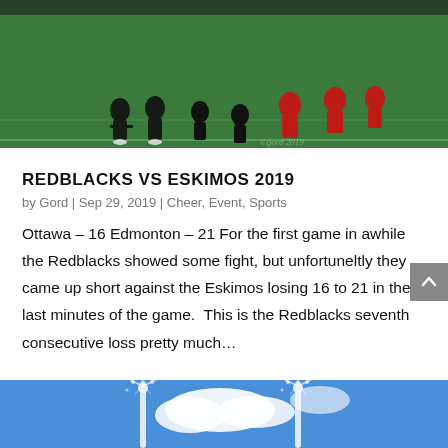[Figure (photo): Football players on a green field, wearing red and black uniforms, during a practice or warmup.]
REDBLACKS VS ESKIMOS 2019
by Gord | Sep 29, 2019 | Cheer, Event, Sports
Ottawa – 16 Edmonton – 21 For the first game in awhile the Redblacks showed some fight, but unfortuneltly they came up short against the Eskimos losing 16 to 21 in the last minutes of the game.  This is the Redblacks seventh consecutive loss pretty much…
[Figure (photo): Fireworks or pyrotechnics shooting up against a blue sky with white clouds.]